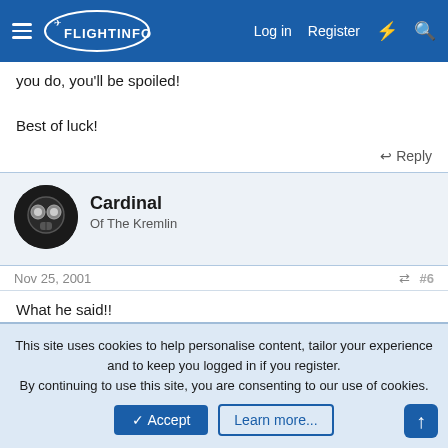FlightInfo — Log in | Register
you do, you'll be spoiled!
Best of luck!
Reply
Cardinal
Of The Kremlin
Nov 25, 2001
#6
What he said!!
Reply
This site uses cookies to help personalise content, tailor your experience and to keep you logged in if you register.
By continuing to use this site, you are consenting to our use of cookies.
Accept
Learn more...